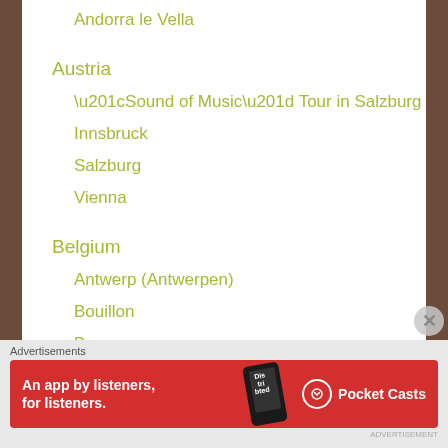Andorra le Vella
Austria
“Sound of Music” Tour in Salzburg
Innsbruck
Salzburg
Vienna
Belgium
Antwerp (Antwerpen)
Bouillon
Brugge
Advertisements
[Figure (other): Pocket Casts advertisement banner: red background with phone image, text 'An app by listeners, for listeners.' and Pocket Casts logo]